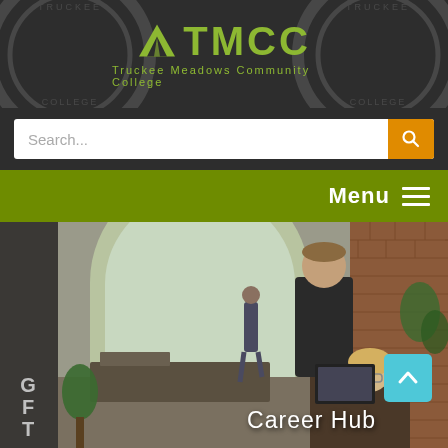[Figure (logo): TMCC Truckee Meadows Community College logo with green mountain/road icon and text on dark background]
[Figure (screenshot): Search bar with orange search button on dark background]
[Figure (screenshot): Olive green menu bar with white Menu text and hamburger icon on the right]
[Figure (photo): Photo of students in a campus building lobby/office. A young man in a black t-shirt stands, a woman with blonde hair sits at a computer, and another person walks in the background. Brick wall visible on right. 'Career Hub' text overlay at bottom right with a teal scroll-to-top button.]